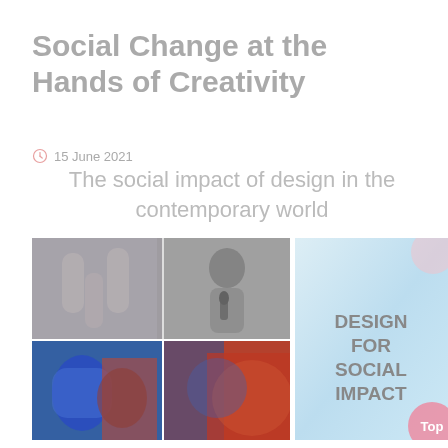Social Change at the Hands of Creativity
15 June 2021
The social impact of design in the contemporary world
[Figure (photo): Collage of images: hands raised, a person speaking into a microphone, colorful artistic paintings depicting figures]
[Figure (illustration): Light blue gradient panel with bold text reading DESIGN FOR SOCIAL IMPACT, with a pink circular badge in the bottom right corner reading Top]